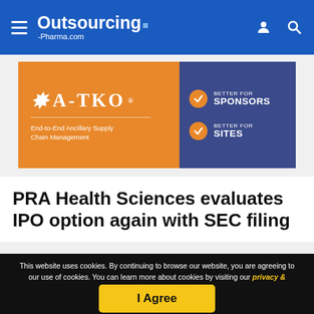Outsourcing-Pharma.com
[Figure (advertisement): A-TKO ad banner: orange left section with A-TKO logo and tagline 'End-to-End Ancillary Supply Chain Management', blue right section with two checkmarks reading 'BETTER FOR SPONSORS' and 'BETTER FOR SITES']
PRA Health Sciences evaluates IPO option again with SEC filing
This website uses cookies. By continuing to browse our website, you are agreeing to our use of cookies. You can learn more about cookies by visiting our privacy & cookies policy page.